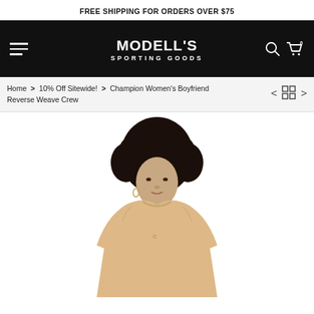FREE SHIPPING FOR ORDERS OVER $75
[Figure (logo): Modell's Sporting Goods logo in white text on black navigation bar, with hamburger menu icon on left and search/cart icons on right]
Home > 10% Off Sitewide! > Champion Women's Boyfriend Reverse Weave Crew
[Figure (photo): Woman with curly afro hair wearing a tan/beige Champion crew neck sweatshirt, photographed from the waist up against a white background]